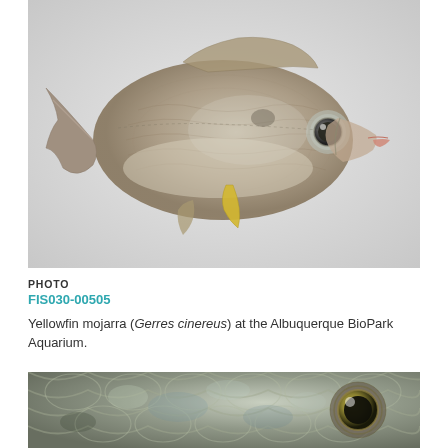[Figure (photo): Yellowfin mojarra fish (Gerres cinereus) photographed against a light grey/white background, showing full side profile with silvery scales, yellowish pelvic fin, and pink-tipped mouth.]
PHOTO
FIS030-00505
Yellowfin mojarra (Gerres cinereus) at the Albuquerque BioPark Aquarium.
[Figure (photo): Close-up macro photograph of a fish head showing iridescent silvery-green scales and a large eye with a dark pupil and golden iris ring.]